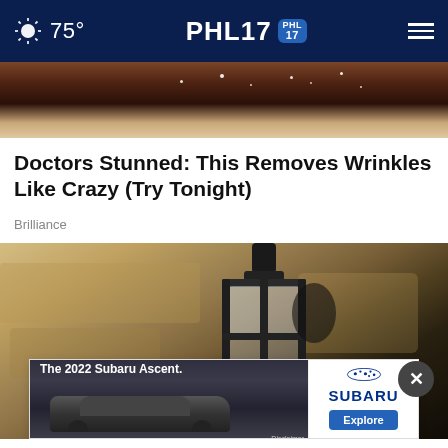75° PHL17 [PHL17 logo]
[Figure (photo): Cropped top portion of a product image showing dark chocolate or cream texture with sparkles/sugar crystals]
Doctors Stunned: This Removes Wrinkles Like Crazy (Try Tonight)
Brilliance
[Figure (photo): Outdoor wall-mounted black lantern light fixture on a textured stone/stucco wall. Close-up photo showing the metal frame and frosted glass panels.]
[Figure (photo): Advertisement: The 2022 Subaru Ascent. Shows a dark SUV with Subaru logo and Explore button. Disclaimer text visible.]